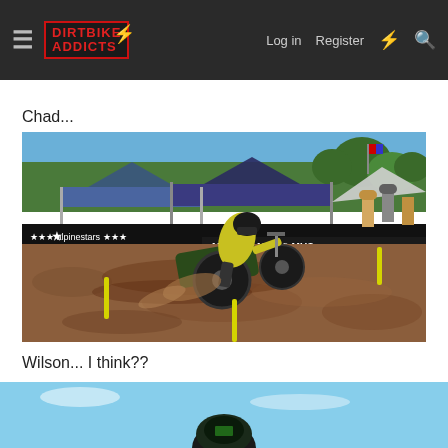Dirt Bike Addicts — Log in | Register
Chad...
[Figure (photo): Motocross rider on a dirt bike racing around a muddy corner at a motocross track. The rider wears yellow/black gear and a black helmet. Visible sponsors include Alpinestars and Muscle Milk banners. Spectator tents and people visible in background. Yellow track markers visible in foreground.]
Wilson... I think??
[Figure (photo): Partial view of another motocross rider, visible at the bottom of the page with a light blue sky background.]